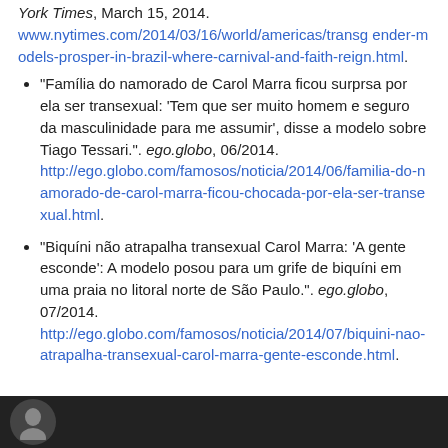York Times, March 15, 2014. www.nytimes.com/2014/03/16/world/americas/transgender-models-prosper-in-brazil-where-carnival-and-faith-reign.html.
"Família do namorado de Carol Marra ficou surprsa por ela ser transexual: 'Tem que ser muito homem e seguro da masculinidade para me assumir', disse a modelo sobre Tiago Tessari.". ego.globo, 06/2014. http://ego.globo.com/famosos/noticia/2014/06/familia-do-namorado-de-carol-marra-ficou-chocada-por-ela-ser-transexual.html.
"Biquíni não atrapalha transexual Carol Marra: 'A gente esconde': A modelo posou para um grife de biquíni em uma praia no litoral norte de São Paulo.". ego.globo, 07/2014. http://ego.globo.com/famosos/noticia/2014/07/biquini-nao-atrapalha-transexual-carol-marra-gente-esconde.html.
[Figure (photo): Dark photo bar at bottom with a circular portrait icon showing a stylized figure]